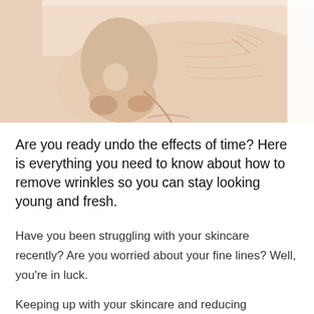[Figure (photo): Close-up photo of an elderly person's face showing the nose area and cheek with visible wrinkles and fine lines, cropped to show only the middle portion of the face against a white background.]
Are you ready undo the effects of time? Here is everything you need to know about how to remove wrinkles so you can stay looking young and fresh.
Have you been struggling with your skincare recently? Are you worried about your fine lines? Well, you're in luck.
Keeping up with your skincare and reducing